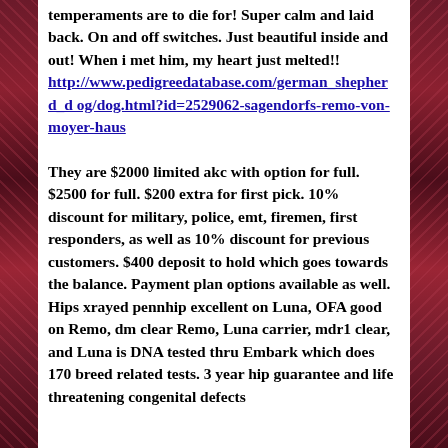temperaments are to die for! Super calm and laid back. On and off switches. Just beautiful inside and out! When i met him, my heart just melted!!
http://www.pedigreedatabase.com/german_shepherd_dog/dog.html?id=2529062-sagendorfs-remo-von-moyer-haus
They are $2000 limited akc with option for full. $2500 for full. $200 extra for first pick. 10% discount for military, police, emt, firemen, first responders, as well as 10% discount for previous customers. $400 deposit to hold which goes towards the balance. Payment plan options available as well. Hips xrayed pennhip excellent on Luna, OFA good on Remo, dm clear Remo, Luna carrier, mdr1 clear, and Luna is DNA tested thru Embark which does 170 breed related tests. 3 year hip guarantee and life threatening congenital defects